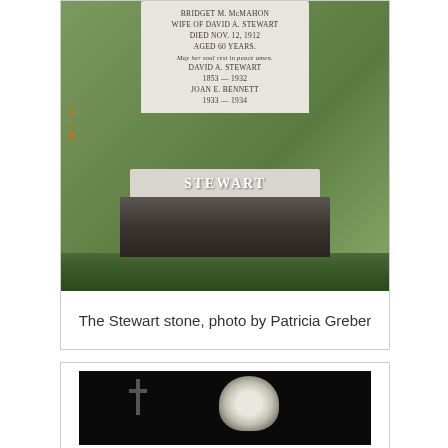[Figure (photo): Photograph of the Stewart family gravestone. The white stone shows inscriptions: BRIDGET M. McMAHON, WIFE OF DAVID A. STEWART, DIED NOV. 12, 1912, AGED 60 YEARS. MAY HER SOUL REST IN PEACE AMEN. DAVID A. STEWART 1853 — 1932. JOAN E. BENNETT 1933 — 1934. The base of the stone reads STEWART. A date stamp showing '98 7 31' appears on the left side in orange text.]
The Stewart stone, photo by Patricia Greber
[Figure (photo): Nighttime photograph of gravestones in a cemetery. A cross-shaped stone is visible on the left, and a lighter glowing gravestone shape appears in the center-right against a very dark background.]